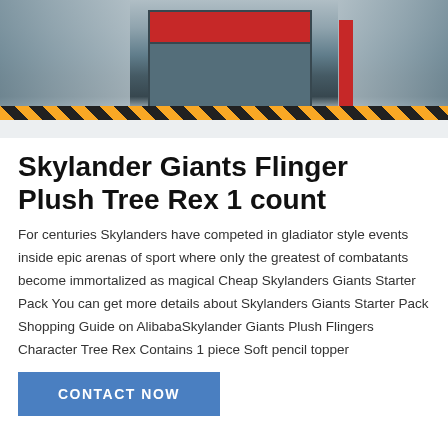[Figure (photo): Industrial crushing or mining machine on a factory floor with yellow and black caution stripes, red accent panel, metal structure, and industrial scaffolding in background.]
Skylander Giants Flinger Plush Tree Rex 1 count
For centuries Skylanders have competed in gladiator style events inside epic arenas of sport where only the greatest of combatants become immortalized as magical Cheap Skylanders Giants Starter Pack You can get more details about Skylanders Giants Starter Pack Shopping Guide on AlibabaSkylander Giants Plush Flingers Character Tree Rex Contains 1 piece Soft pencil topper
CONTACT NOW